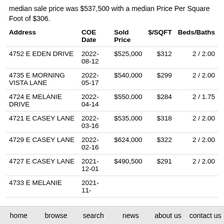median sale price was $537,500 with a median Price Per Square Foot of $306.
| Address | COE Date | Sold Price | $/SQFT | Beds/Baths |
| --- | --- | --- | --- | --- |
| 4752 E EDEN DRIVE | 2022-08-12 | $525,000 | $312 | 2 / 2.00 |
| 4735 E MORNING VISTA LANE | 2022-05-17 | $540,000 | $299 | 2 / 2.00 |
| 4724 E MELANIE DRIVE | 2022-04-14 | $550,000 | $284 | 2 / 1.75 |
| 4721 E CASEY LANE | 2022-03-16 | $535,000 | $318 | 2 / 2.00 |
| 4729 E CASEY LANE | 2022-02-16 | $624,000 | $322 | 2 / 2.00 |
| 4727 E CASEY LANE | 2021-12-01 | $490,500 | $291 | 2 / 2.00 |
| 4733 E MELANIE ... | 2021-11-... |  |  |  |
home   browse   search   news   about us   contact us